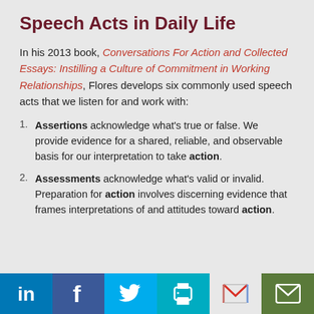Speech Acts in Daily Life
In his 2013 book, Conversations For Action and Collected Essays: Instilling a Culture of Commitment in Working Relationships, Flores develops six commonly used speech acts that we listen for and work with:
Assertions acknowledge what's true or false. We provide evidence for a shared, reliable, and observable basis for our interpretation to take action.
Assessments acknowledge what's valid or invalid. Preparation for action involves discerning evidence that frames interpretations of and attitudes toward action.
Social share bar: LinkedIn, Facebook, Twitter, Print, Gmail, Email